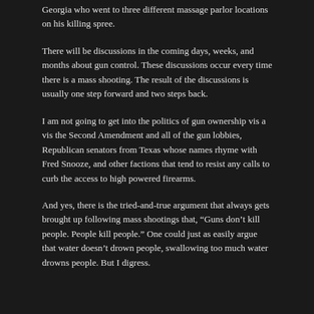Georgia who went to three different massage parlor locations on his killing spree.
There will be discussions in the coming days, weeks, and months about gun control. These discussions occur every time there is a mass shooting. The result of the discussions is usually one step forward and two steps back.
I am not going to get into the politics of gun ownership vis a vis the Second Amendment and all of the gun lobbies, Republican senators from Texas whose names rhyme with Fred Snooze, and other factions that tend to resist any calls to curb the access to high powered firearms.
And yes, there is the tried-and-true argument that always gets brought up following mass shootings that, “Guns don’t kill people. People kill people.” One could just as easily argue that water doesn’t drown people, swallowing too much water drowns people. But I digress.